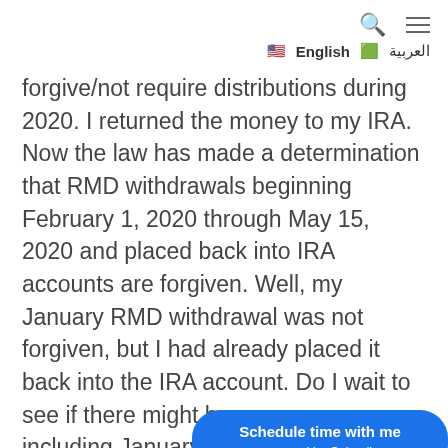🔍 ≡ 🇺🇸 English 🇸🇦 العربية
forgive/not require distributions during 2020. I returned the money to my IRA. Now the law has made a determination that RMD withdrawals beginning February 1, 2020 through May 15, 2020 and placed back into IRA accounts are forgiven. Well, my January RMD withdrawal was not forgiven, but I had already placed it back into the IRA account. Do I wait to see if there might b… including January distributions?